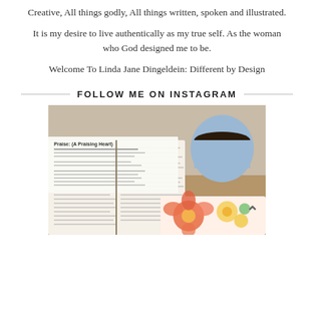Creative, All things godly, All things written, spoken and illustrated.
It is my desire to live authentically as my true self. As the woman who God designed me to be.
Welcome To Linda Jane Dingeldein: Different by Design
FOLLOW ME ON INSTAGRAM
[Figure (photo): Open Bible with printed devotional text on top, a mug of coffee, and a colorful floral illustrated book or journal beside it on a wooden table.]